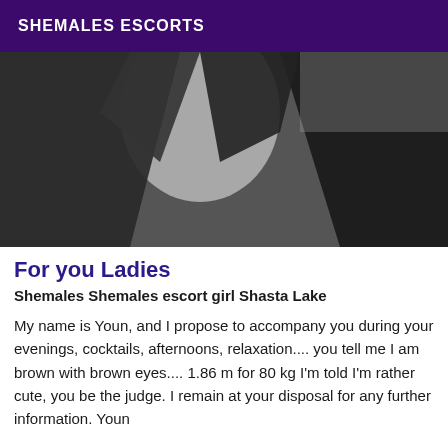SHEMALES ESCORTS
[Figure (photo): Close-up photo of a person wearing a dark black blazer/jacket over a white shirt, photo is cropped showing the torso/chest area]
For you Ladies
Shemales Shemales escort girl Shasta Lake
My name is Youn, and I propose to accompany you during your evenings, cocktails, afternoons, relaxation.... you tell me I am brown with brown eyes.... 1.86 m for 80 kg I'm told I'm rather cute, you be the judge. I remain at your disposal for any further information. Youn